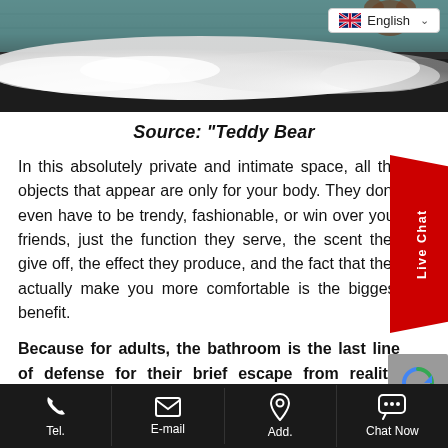[Figure (photo): Photo of a bathtub filled with white foam/bubbles, with teal/green tiled walls in the background. A language selector (English with UK flag) appears in the top right corner.]
Source: “Teddy Bear
In this absolutely private and intimate space, all the objects that appear are only for your body. They don’t even have to be trendy, fashionable, or win over your friends, just the function they serve, the scent they give off, the effect they produce, and the fact that they actually make you more comfortable is the biggest benefit.
Because for adults, the bathroom is the last line of defense for their brief escape from reality. When
Tel.    E-mail    Add.    Chat Now